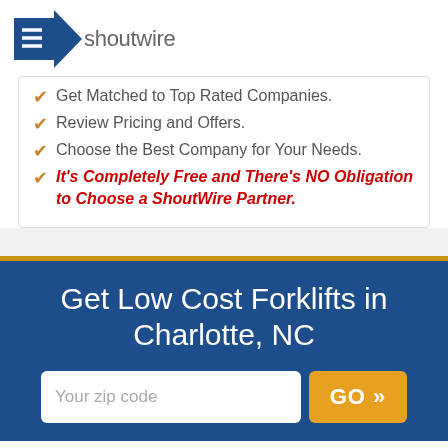[Figure (logo): ShoutWire logo with blue arrow/checkmark icon and gray 'shoutwire' wordmark]
Get Matched to Top Rated Companies.
Review Pricing and Offers.
Choose the Best Company for Your Needs.
It's Completely Free and There's NO Obligation to Choose a ShoutWire Partner.
Get Low Cost Forklifts in Charlotte, NC